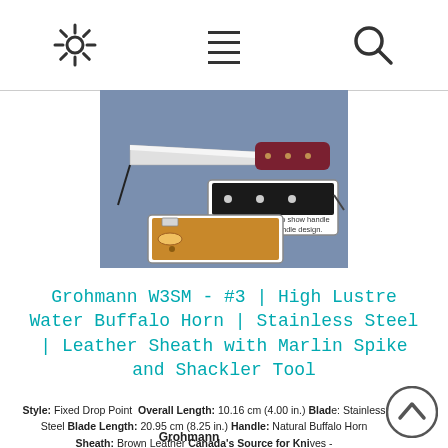[settings icon] [menu icon] [search icon]
[Figure (photo): Product photo of a Grohmann W3SM knife with a reddish-brown handle against a blue-gray background, with an inset image showing the dark water buffalo horn handle material and a leather sheath below. Inset caption: 'This inset image is to show handle material only, not handle design.']
Grohmann W3SM - #3 | High Lustre Water Buffalo Horn | Stainless Steel | Leather Sheath with Marlin Spike and Shackler Tool
Style: Fixed Drop Point Overall Length: 10.16 cm (4.00 in.) Blade: Stainless Steel Blade Length: 20.95 cm (8.25 in.) Handle: Natural Buffalo Horn Sheath: Brown Leather Canada's Source for Knives - Grohmann